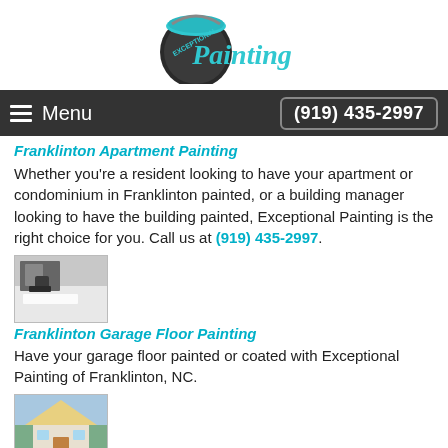[Figure (logo): Exceptional Painting logo with paint can and teal/dark text]
Menu  (919) 435-2997
Franklinton Apartment Painting
Whether you're a resident looking to have your apartment or condominium in Franklinton painted, or a building manager looking to have the building painted, Exceptional Painting is the right choice for you. Call us at (919) 435-2997.
[Figure (photo): Photo of garage floor with boot/shoe visible]
Franklinton Garage Floor Painting
Have your garage floor painted or coated with Exceptional Painting of Franklinton, NC.
[Figure (photo): Photo of house exterior]